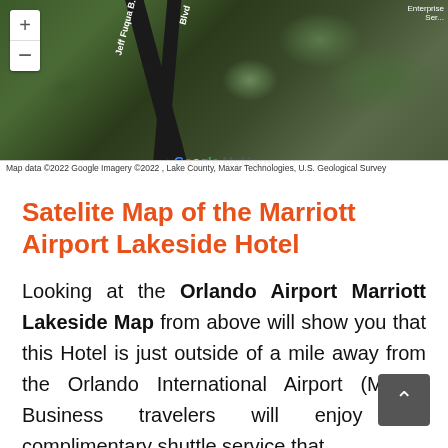[Figure (map): Satellite/aerial map view showing the area around Marriott Airport Lakeside Hotel with roads including Jeff Fuqua Blvd, Google MyMaps branding, zoom controls (+/-), and map attribution bar at bottom.]
Map data ©2022 Google Imagery ©2022 , Lake County, Maxar Technologies, U.S. Geological Survey
Satelite Map of the Marriott Airport Lakeside Hotel
Looking at the Orlando Airport Marriott Lakeside Map from above will show you that this Hotel is just outside of a mile away from the Orlando International Airport (MCO). Business travelers will enjoy the complimentary shuttle service that